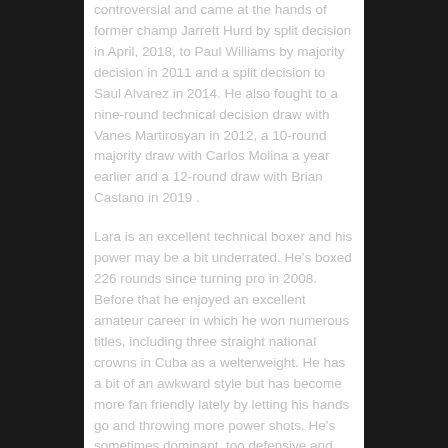controversial and came at the hands of former champ Jarrett Hurd by split decision in April, 2018, to Paul Williams by majority decision in 2011 and a split decision to Saul Alvarez in 2014. He also fought to a nine-round technical decision draw with Vanes Martirosyan in 2012, a 10-round majority draw with Carlos Molina a year earlier and a 12-round draw with Brian Castano in 2019 .
Lara is an excellent technical boxer and his power may be a bit underrated. He's boxed 226 rounds since turning pro in 2008. Before that he enjoyed an excellent amateur career in which he won numerous titles, including three straight national crowns in Cuba as a welterweight. He has a bit of an awkward style but has become more fan friendly lately by letting his hands go and throwing more power shots. He's sometimes dominant, too defensive and hard to hit and